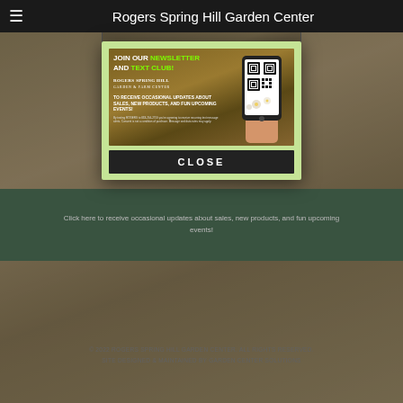Rogers Spring Hill Garden Center
[Figure (photo): Partial photo of mulch/garden material, top portion visible]
[SHOW PICTURE LIST]
[Figure (infographic): Newsletter and text club signup popup. Join our Newsletter and Text Club! Rogers Spring Hill Garden & Farm Center. To receive occasional updates about sales, new products, and fun upcoming events! Fine print: By texting ROGERS to 833-294-2759 you're agreeing to receive recurring text message alerts. Consent is not a condition of purchase. Message and data rates may apply. Includes QR code on phone image.]
Click here to receive occasional updates about sales, new products, and fun upcoming events!
CLOSE
© 2022 ROGERS SPRING HILL GARDEN CENTER. ALL RIGHTS RESERVED.
SITE DESIGNED & MAINTAINED BY GARDEN CENTER SOLUTIONS